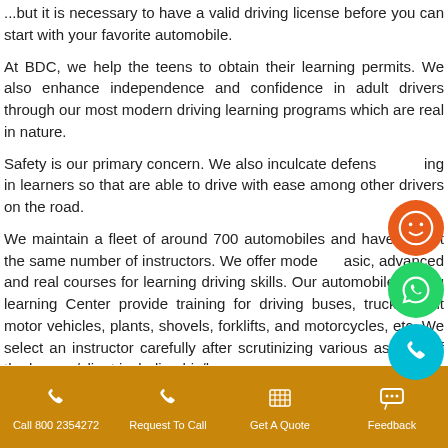...but it is necessary to have a valid driving license before you can start with your favorite automobile.
At BDC, we help the teens to obtain their learning permits. We also enhance independence and confidence in adult drivers through our most modern driving learning programs which are real in nature.
Safety is our primary concern. We also inculcate defensive driving in learners so that are able to drive with ease among other drivers on the road.
We maintain a fleet of around 700 automobiles and have almost the same number of instructors. We offer modern basic, advanced and real courses for learning driving skills. Our automobile driving learning Center provide training for driving buses, trucks, light motor vehicles, plants, shovels, forklifts, and motorcycles, etc. We select an instructor carefully after scrutinizing various aspects of the learner/client including his/her
Call 800 2354272 | Request To Call | Get A Quote | Feedback